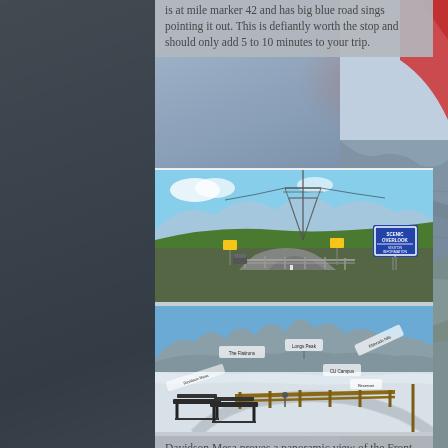is at mile marker 42 and has big blue road sings pointing it out. This is defiantly worth the stop and should only add 5 to 10 minutes to your trip.
[Figure (photo): Highway road with scenic overlook and visitor information sign, power transmission tower in background, mountains visible, yellow rectangular signs along road]
[Figure (photo): Davidson Mesa scenic overlook with park benches, snow-covered ground, mountains in background with labeled peaks including Longs Peak, The Flatirons, and CU Campus annotations]
Davidson Mesa proves a panoramic view of the Front Range mountains, the City of Boulder, and its famous Flatirons rock formation; a monument to the Denver-Boulder